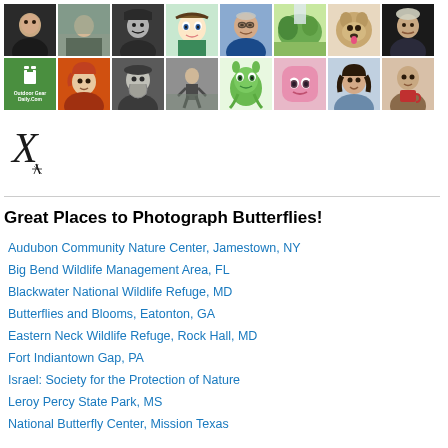[Figure (illustration): Grid of 16 avatar/profile images in two rows of 8 each, including photos of people, animals, cartoon characters, and logos]
[Figure (logo): X (formerly Twitter) logo mark in black]
Great Places to Photograph Butterflies!
Audubon Community Nature Center, Jamestown, NY
Big Bend Wildlife Management Area, FL
Blackwater National Wildlife Refuge, MD
Butterflies and Blooms, Eatonton, GA
Eastern Neck Wildlife Refuge, Rock Hall, MD
Fort Indiantown Gap, PA
Israel: Society for the Protection of Nature
Leroy Percy State Park, MS
National Butterfly Center, Mission Texas